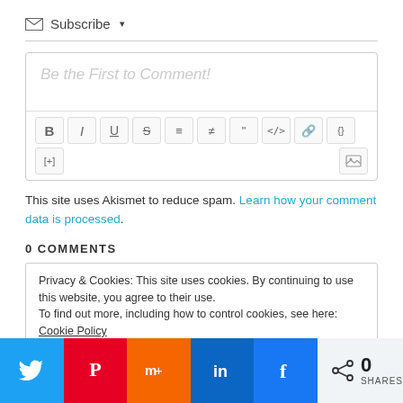Subscribe ▾
[Figure (screenshot): Comment editor box with placeholder text 'Be the First to Comment!' and a formatting toolbar with Bold, Italic, Underline, Strikethrough, ordered list, unordered list, blockquote, code, link, curly braces, [+] buttons, and an image icon.]
This site uses Akismet to reduce spam. Learn how your comment data is processed.
0 COMMENTS
Privacy & Cookies: This site uses cookies. By continuing to use this website, you agree to their use.
To find out more, including how to control cookies, see here: Cookie Policy